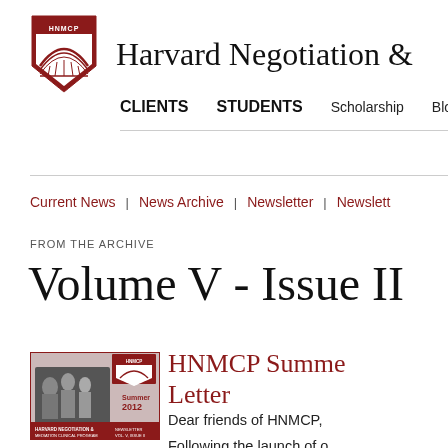[Figure (logo): HNMCP shield logo with crimson background and bridge graphic]
Harvard Negotiation &
CLIENTS   STUDENTS   Scholarship   Blog
Current News  |  News Archive  |  Newsletter  |  Newslett
FROM THE ARCHIVE
Volume V - Issue II
[Figure (photo): HNMCP Summer 2012 Newsletter cover thumbnail showing group of people]
HNMCP Summer Letter
Dear friends of HNMCP,
Following the launch of o